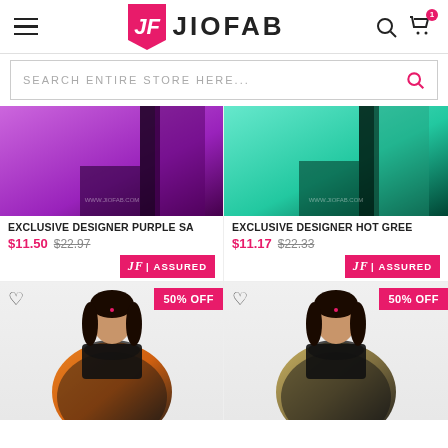JIOFAB
SEARCH ENTIRE STORE HERE...
[Figure (photo): Purple designer saree product image]
EXCLUSIVE DESIGNER PURPLE SA
$11.50 $22.97
JF ASSURED
[Figure (photo): Hot green designer saree product image]
EXCLUSIVE DESIGNER HOT GREE
$11.17 $22.33
JF ASSURED
[Figure (photo): Orange black designer saree model photo, 50% OFF badge]
[Figure (photo): Black gold designer saree model photo, 50% OFF badge]